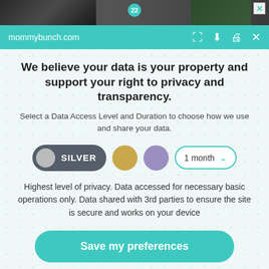[Figure (screenshot): Ad banner strip with food imagery at top of page, showing number 22 in teal circle and X close button]
mommybunch.com
We believe your data is your property and support your right to privacy and transparency.
Select a Data Access Level and Duration to choose how we use and share your data.
[Figure (infographic): Privacy level selector showing silver toggle button (active), gold circle, purple circle, and 1 month dropdown]
Highest level of privacy. Data accessed for necessary basic operations only. Data shared with 3rd parties to ensure the site is secure and works on your device
Save my preferences
Customize   Privacy policy | Do Not Sell